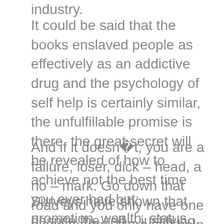industry.
It could be said that the books enslaved people as effectively as an addictive drug and the psychology of self help is certainly similar, the unfulfillable promise is there, the great secret will be revealed of how to achieve not the best time you ever had but: promotion, wealth, status, happiness, a fulfilling relationship, perfect mashed potatoes – no, scrub that one – and popularity. All anybody needs to do is read the book, apply its techniques and everything will just happen.
And if it doesn���т, you are a failure, loser, dick – head, a no – mark. Go down that road and you only have one place to turn. More self help.
Surveys have shown that despite the self – justifying claims of those who followed the advice offered in self help books, they have not actually done better